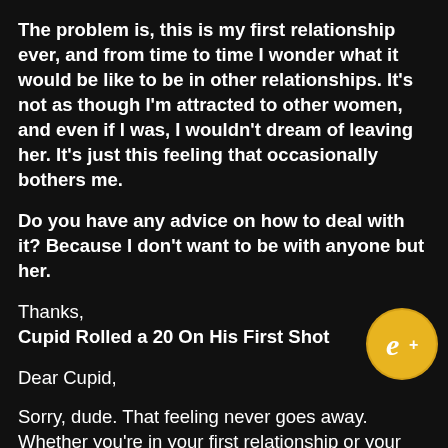The problem is, this is my first relationship ever, and from time to time I wonder what it would be like to be in other relationships. It's not as though I'm attracted to other women, and even if I was, I wouldn't dream of leaving her. It's just this feeling that occasionally bothers me.
Do you have any advice on how to deal with it? Because I don't want to be with anyone but her.
Thanks,
Cupid Rolled a 20 On His First Shot
Dear Cupid,
[Figure (logo): Gold circular logo with stylized 'e+' text in white script]
Sorry, dude. That feeling never goes away. Whether you're in your first relationship or your twentieth; whether you're a blushing virgin or married 80 years, the grass will always look greener on the other side.